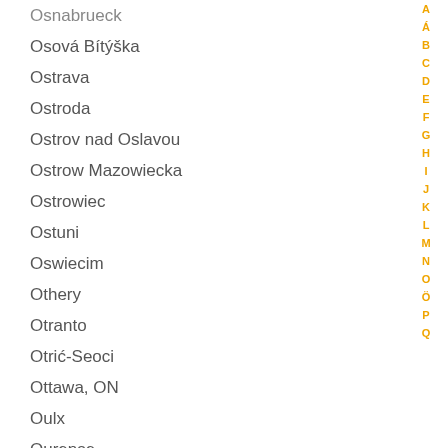Osnabrueck
Osová Bítýška
Ostrava
Ostroda
Ostrov nad Oslavou
Ostrow Mazowiecka
Ostrowiec
Ostuni
Oswiecim
Othery
Otranto
Otrić-Seoci
Ottawa, ON
Oulx
Ourense